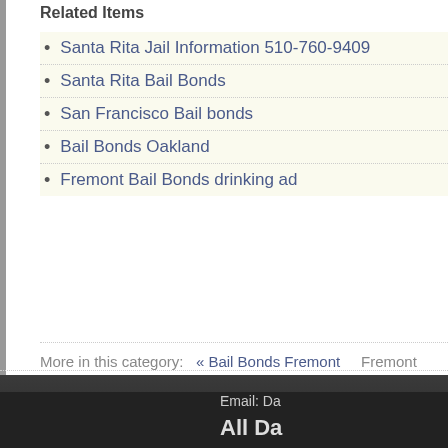Related Items
Santa Rita Jail Information 510-760-9409
Santa Rita Bail Bonds
San Francisco Bail bonds
Bail Bonds Oakland
Fremont Bail Bonds drinking ad
More in this category:  « Bail Bonds Fremont   Fremont
Email: Da
All Da